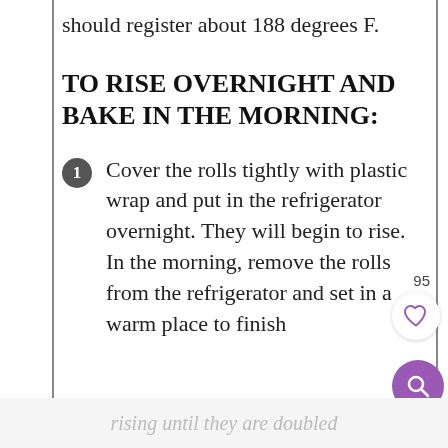should register about 188 degrees F.
TO RISE OVERNIGHT AND BAKE IN THE MORNING:
Cover the rolls tightly with plastic wrap and put in the refrigerator overnight. They will begin to rise. In the morning, remove the rolls from the refrigerator and set in a warm place to finish
rising until they are doubled